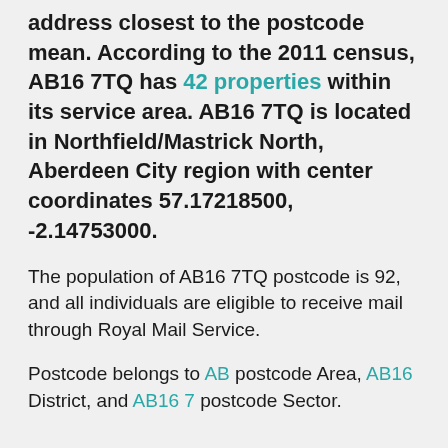address closest to the postcode mean. According to the 2011 census, AB16 7TQ has 42 properties within its service area. AB16 7TQ is located in Northfield/Mastrick North, Aberdeen City region with center coordinates 57.17218500, -2.14753000.
The population of AB16 7TQ postcode is 92, and all individuals are eligible to receive mail through Royal Mail Service.
Postcode belongs to AB postcode Area, AB16 District, and AB16 7 postcode Sector.